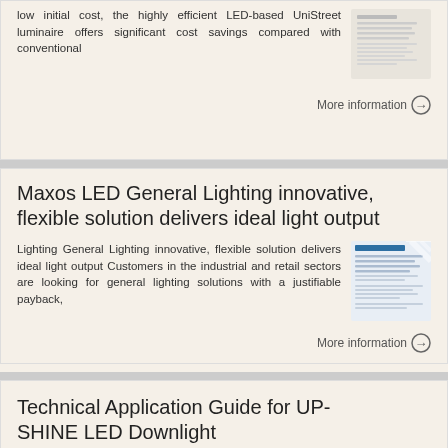low initial cost, the highly efficient LED-based UniStreet luminaire offers significant cost savings compared with conventional
More information →
Maxos LED General Lighting innovative, flexible solution delivers ideal light output
Lighting General Lighting innovative, flexible solution delivers ideal light output Customers in the industrial and retail sectors are looking for general lighting solutions with a justifiable payback,
[Figure (screenshot): Thumbnail image of a document page for Maxos LED General Lighting]
More information →
Technical Application Guide for UP-SHINE LED Downlight
Technical Application Guide for UP-SHINE
[Figure (screenshot): Thumbnail image with green background for UP-SHINE LED Downlight]